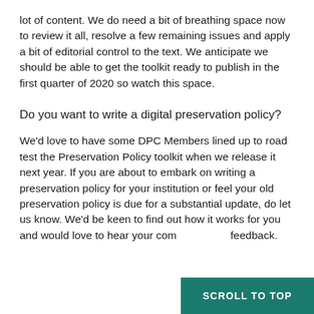lot of content. We do need a bit of breathing space now to review it all, resolve a few remaining issues and apply a bit of editorial control to the text. We anticipate we should be able to get the toolkit ready to publish in the first quarter of 2020 so watch this space.
Do you want to write a digital preservation policy?
We'd love to have some DPC Members lined up to road test the Preservation Policy toolkit when we release it next year. If you are about to embark on writing a preservation policy for your institution or feel your old preservation policy is due for a substantial update, do let us know. We'd be keen to find out how it works for you and would love to hear your comments and feedback.